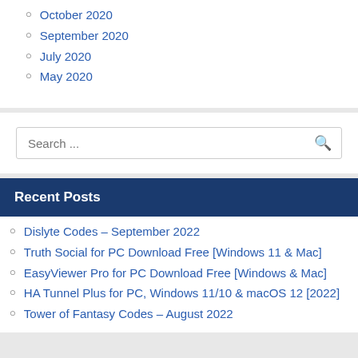October 2020
September 2020
July 2020
May 2020
Search ...
Recent Posts
Dislyte Codes – September 2022
Truth Social for PC Download Free [Windows 11 & Mac]
EasyViewer Pro for PC Download Free [Windows & Mac]
HA Tunnel Plus for PC, Windows 11/10 & macOS 12 [2022]
Tower of Fantasy Codes – August 2022